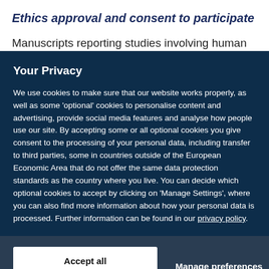Ethics approval and consent to participate
Manuscripts reporting studies involving human
Your Privacy
We use cookies to make sure that our website works properly, as well as some ‘optional’ cookies to personalise content and advertising, provide social media features and analyse how people use our site. By accepting some or all optional cookies you give consent to the processing of your personal data, including transfer to third parties, some in countries outside of the European Economic Area that do not offer the same data protection standards as the country where you live. You can decide which optional cookies to accept by clicking on ‘Manage Settings’, where you can also find more information about how your personal data is processed. Further information can be found in our privacy policy.
Accept all cookies
Manage preferences